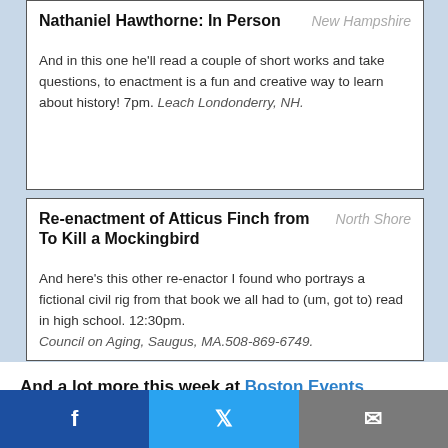Nathaniel Hawthorne: In Person
New Hampshire
And in this one he'll read a couple of short works and take questions, to enactment is a fun and creative way to learn about history! 7pm. Leach Londonderry, NH.
Re-enactment of Atticus Finch from To Kill a Mockingbird
North Shore
And here's this other re-enactor I found who portrays a fictional civil righ from that book we all had to (um, got to) read in high school. 12:30pm. Council on Aging, Saugus, MA.508-869-6749.
And a lot more this week at Boston Events Insider, the
[Figure (infographic): Social share bar with Facebook, Twitter, and email buttons]